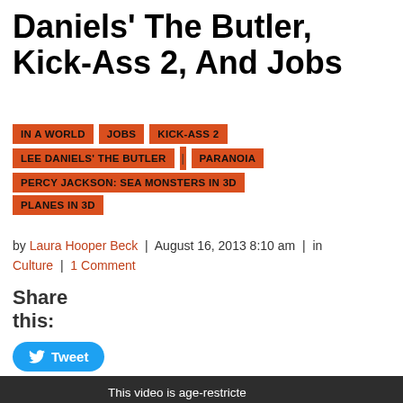Daniels' The Butler, Kick-Ass 2, And Jobs
IN A WORLD
JOBS
KICK-ASS 2
LEE DANIELS' THE BUTLER
PARANOIA
PERCY JACKSON: SEA MONSTERS IN 3D
PLANES IN 3D
by Laura Hooper Beck | August 16, 2013 8:10 am | in Culture | 1 Comment
Share this:
[Figure (other): Twitter Tweet button (blue rounded rectangle with bird icon and 'Tweet' label)]
[Figure (screenshot): Embedded video player with dark background and text 'This video is age-restricted']